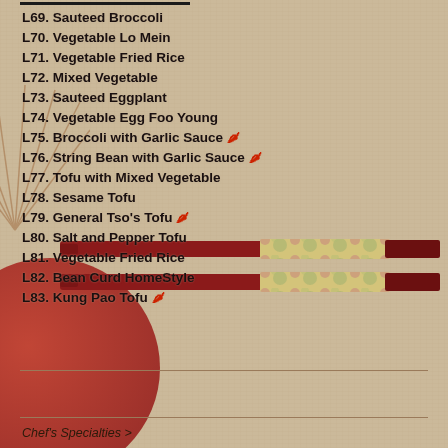L69. Sauteed Broccoli
L70. Vegetable Lo Mein
L71. Vegetable Fried Rice
L72. Mixed Vegetable
L73. Sauteed Eggplant
L74. Vegetable Egg Foo Young
L75. Broccoli with Garlic Sauce 🌶
L76. String Bean with Garlic Sauce 🌶
L77. Tofu with Mixed Vegetable
L78. Sesame Tofu
L79. General Tso's Tofu 🌶
L80. Salt and Pepper Tofu
L81. Vegetable Fried Rice
L82. Bean Curd HomeStyle
L83. Kung Pao Tofu 🌶
Chef's Specialties >